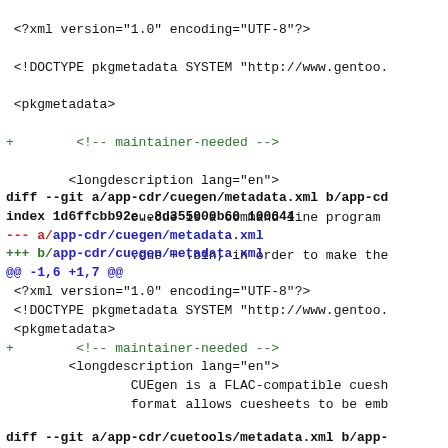<?xml version="1.0" encoding="UTF-8"?>
 <!DOCTYPE pkgmetadata SYSTEM "http://www.gentoo.
 <pkgmetadata>
+        <!-- maintainer-needed -->
        <longdescription lang="en">
                cuecue is a command line program
                .cue + .bin, in order to make the
diff --git a/app-cdr/cuegen/metadata.xml b/app-cd
index 1d6ffcbb92e..8d355000b60 100644
--- a/app-cdr/cuegen/metadata.xml
+++ b/app-cdr/cuegen/metadata.xml
@@ -1,6 +1,7 @@
 <?xml version="1.0" encoding="UTF-8"?>
 <!DOCTYPE pkgmetadata SYSTEM "http://www.gentoo.
 <pkgmetadata>
+        <!-- maintainer-needed -->
        <longdescription lang="en">
                CUEgen is a FLAC-compatible cuesh
                format allows cuesheets to be emb
diff --git a/app-cdr/cuetools/metadata.xml b/app-
index ...